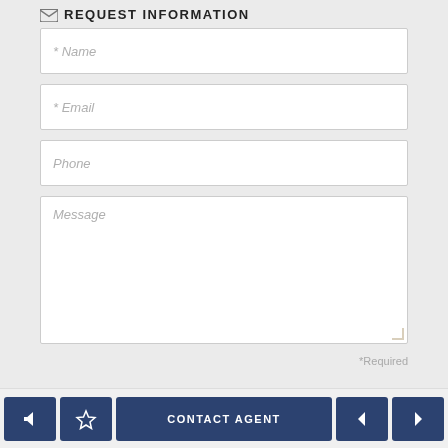REQUEST INFORMATION
* Name
* Email
Phone
Message
*Required
SEND REQUEST
CONTACT AGENT